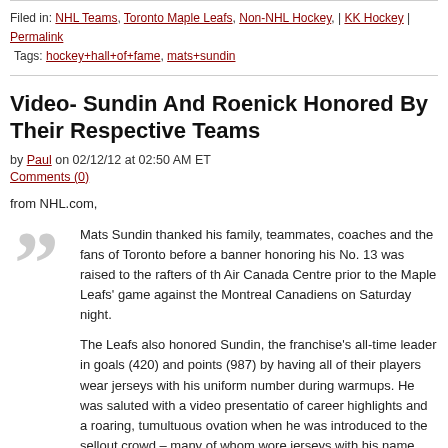Filed in: NHL Teams, Toronto Maple Leafs, Non-NHL Hockey, | KK Hockey | Permalink
Tags: hockey+hall+of+fame, mats+sundin
Video- Sundin And Roenick Honored By Their Respective Teams
by Paul on 02/12/12 at 02:50 AM ET
Comments (0)
from NHL.com,
Mats Sundin thanked his family, teammates, coaches and the fans of Toronto before a banner honoring his No. 13 was raised to the rafters of the Air Canada Centre prior to the Maple Leafs' game against the Montreal Canadiens on Saturday night.
The Leafs also honored Sundin, the franchise's all-time leader in goals (420) and points (987) by having all of their players wear jerseys with his uniform number during warmups. He was saluted with a video presentation of career highlights and a roaring, tumultuous ovation when he was introduced to the sellout crowd – many of whom wore jerseys with his name and number.